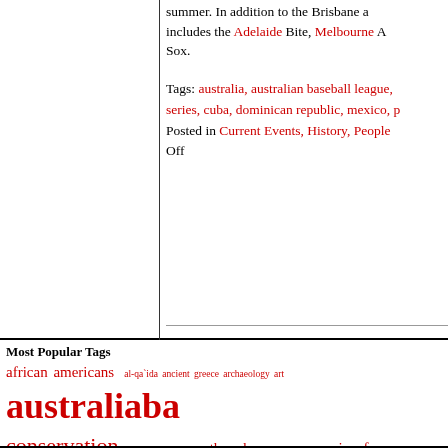summer. In addition to the Brisbane and includes the Adelaide Bite, Melbourne A Sox.
Tags: australia, australian baseball league, series, cuba, dominican republic, mexico, p
Posted in Current Events, History, People Off
Most Popular Tags
african americans al-qa`ida ancient greece archaeology art australia ba conservation donald trump earthquake european union france global war monster monday moon mythic monday mythology nasa new syrian civil war Terrorism tornado ukraine united kingdom united states vladimi